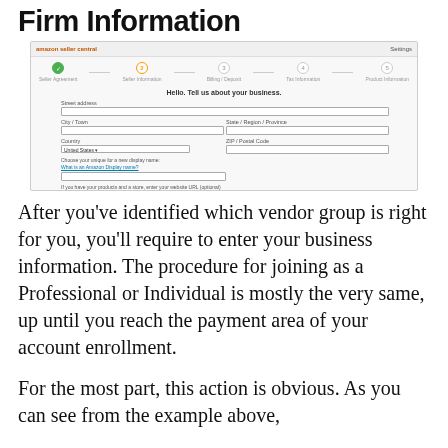Firm Information
[Figure (screenshot): Amazon Seller Central registration form screenshot showing a multi-step progress bar and a business information form titled 'Hello. Tell us about your business.' with fields for business address, city, state/province, country, postal code, store name, website URL, phone verification, and mobile number.]
After you've identified which vendor group is right for you, you'll require to enter your business information. The procedure for joining as a Professional or Individual is mostly the very same, up until you reach the payment area of your account enrollment.
For the most part, this action is obvious. As you can see from the example above,